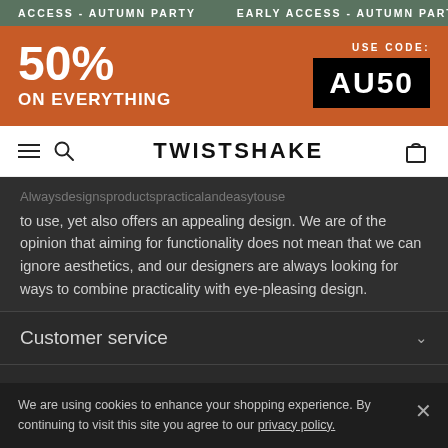EARLY ACCESS - AUTUMN PARTY   EARLY ACCESS - AUTUMN PARTY   EARLY ACCESS - AUTUMN PARTY
[Figure (infographic): Orange promotional banner: 50% ON EVERYTHING. USE CODE: AU50 in black box.]
TWISTSHAKE — navigation bar with hamburger menu, search, and cart icons
to use, yet also offers an appealing design. We are of the opinion that aiming for functionality does not mean that we can ignore aesthetics, and our designers are always looking for ways to combine practicality with eye-pleasing design.
Customer service
Twistshake
We are using cookies to enhance your shopping experience. By continuing to visit this site you agree to our privacy policy.